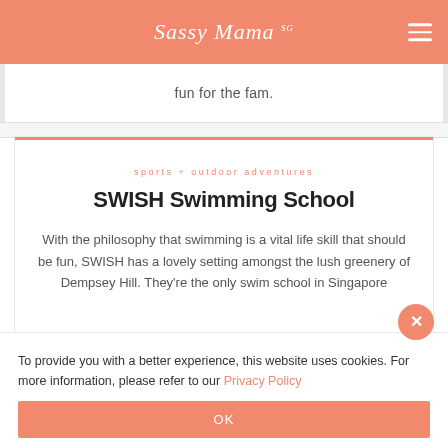Sassy Mama
fun for the fam.
sports + outdoor adventures
SWISH Swimming School
With the philosophy that swimming is a vital life skill that should be fun, SWISH has a lovely setting amongst the lush greenery of Dempsey Hill. They're the only swim school in Singapore...
To provide you with a better experience, this website uses cookies. For more information, please refer to our Privacy Policy